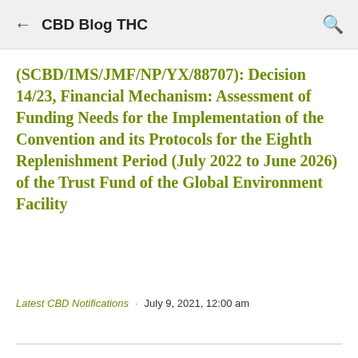CBD Blog THC
(SCBD/IMS/JMF/NP/YX/88707): Decision 14/23, Financial Mechanism: Assessment of Funding Needs for the Implementation of the Convention and its Protocols for the Eighth Replenishment Period (July 2022 to June 2026) of the Trust Fund of the Global Environment Facility
Latest CBD Notifications · July 9, 2021, 12:00 am